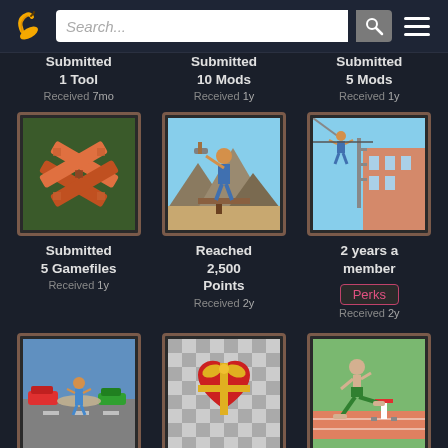Search... [search icon] [menu icon]
Submitted 1 Tool
Received 7mo
Submitted 10 Mods
Received 1y
Submitted 5 Mods
Received 1y
[Figure (illustration): Pixel art badge: crossed bandages on green background]
Submitted 5 Gamefiles
Received 1y
[Figure (illustration): Pixel art badge: man swinging axe in desert landscape]
Reached 2,500 Points
Received 2y
[Figure (illustration): Pixel art badge: man walking on rooftop edge of building]
2 years a member
Perks
Received 2y
[Figure (illustration): Pixel art badge: figure standing on road with cars]
1 post awarded Exemplary
[Figure (illustration): Pixel art badge: red heart-shaped gift box with gold ribbon on checkered background]
Received thanks 5 times
[Figure (illustration): Pixel art badge: muscular man jumping over hurdle on track]
1 year a member